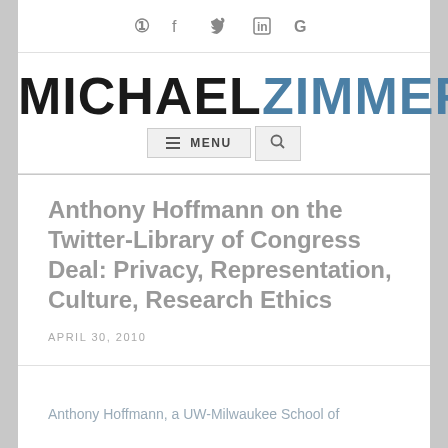Social icons: Facebook, Twitter, LinkedIn, Google
MICHAELZIMMER
≡ MENU 🔍
Anthony Hoffmann on the Twitter-Library of Congress Deal: Privacy, Representation, Culture, Research Ethics
APRIL 30, 2010
Anthony Hoffmann, a UW-Milwaukee School of